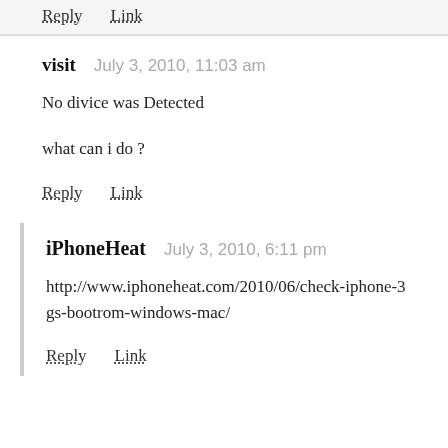Reply   Link
visit   July 3, 2010, 11:03 am
No divice was Detected

what can i do ?
Reply   Link
iPhoneHeat   July 3, 2010, 6:11 pm
http://www.iphoneheat.com/2010/06/check-iphone-3gs-bootrom-windows-mac/
Reply   Link